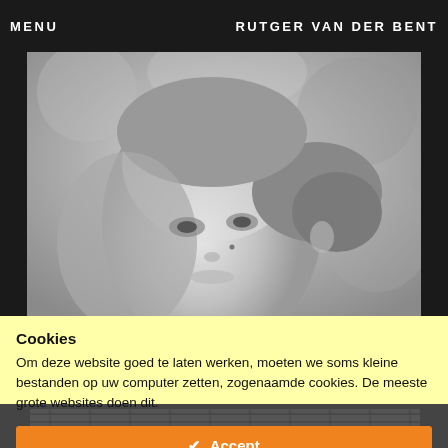MENU    RUTGER VAN DER BENT
[Figure (photo): Black and white close-up portrait of a young woman with hair pulled back, looking slightly to the side]
Cookies
Om deze website goed te laten werken, moeten we soms kleine bestanden op uw computer zetten, zogenaamde cookies. De meeste grote websites doen dit.
✔  Accept
Change Settings  ⚙
[Figure (photo): Bottom strip showing a partial black and white textured image]